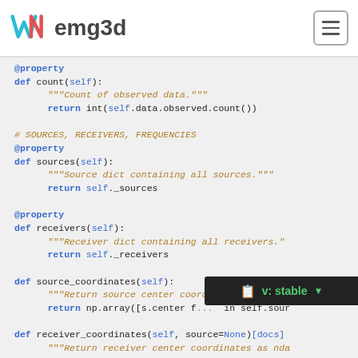wNemg3d — navigation header with logo and menu button
@property
def count(self):
    """Count of observed data."""
    return int(self.data.observed.count())

# SOURCES, RECEIVERS, FREQUENCIES
@property
def sources(self):
    """Source dict containing all sources."""
    return self._sources

@property
def receivers(self):
    """Receiver dict containing all receivers."""
    return self._receivers

def source_coordinates(self):                        [docs]
    """Return source center coordinates as ndarr
    return np.array([s.center f...  in self.sour

def receiver_coordinates(self, source=None)[docs]
    """Return receiver center coordinates as nda